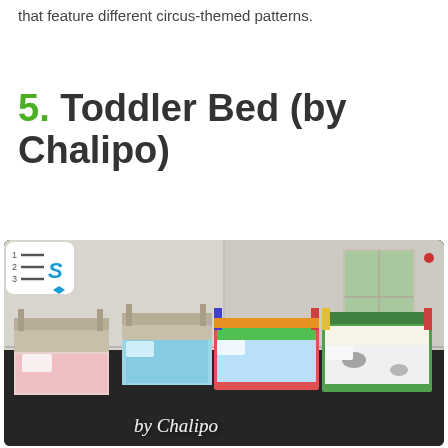that feature different circus-themed patterns.
5. Toddler Bed (by Chalipo)
[Figure (photo): Screenshot from The Sims game showing multiple toddler beds arranged in a room. Some beds have plain wood frames with colorful patterned bedding, others have colorful painted frames. A 'by Chalipo' watermark appears in cursive at the bottom. The Sims 4 numbered list icon is visible in the top-left corner of the image.]
by Chalipo